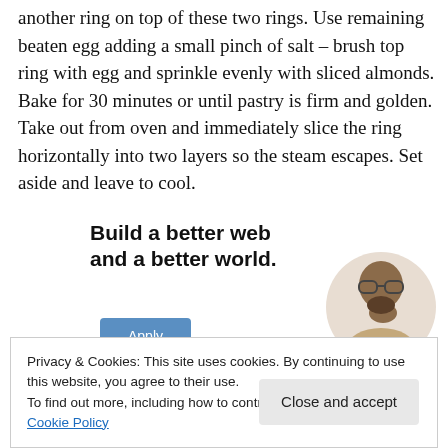another ring on top of these two rings. Use remaining beaten egg adding a small pinch of salt – brush top ring with egg and sprinkle evenly with sliced almonds. Bake for 30 minutes or until pastry is firm and golden. Take out from oven and immediately slice the ring horizontally into two layers so the steam escapes. Set aside and leave to cool.
[Figure (infographic): Web advertisement banner: bold text 'Build a better web and a better world.' with a blue Apply button and a circular photo of a man thinking (wearing glasses).]
Privacy & Cookies: This site uses cookies. By continuing to use this website, you agree to their use.
To find out more, including how to control cookies, see here: Cookie Policy
Close and accept